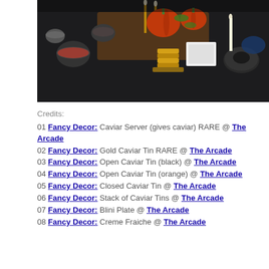[Figure (photo): Dark table top view with caviar tins, pumpkins, candles, gold stacked coins, decorative tableware, and autumn foliage arrangement.]
Credits:
01 Fancy Decor: Caviar Server (gives caviar) RARE @ The Arcade
02 Fancy Decor: Gold Caviar Tin RARE @ The Arcade
03 Fancy Decor: Open Caviar Tin (black) @ The Arcade
04 Fancy Decor: Open Caviar Tin (orange) @ The Arcade
05 Fancy Decor: Closed Caviar Tin @ The Arcade
06 Fancy Decor: Stack of Caviar Tins @ The Arcade
07 Fancy Decor: Blini Plate @ The Arcade
08 Fancy Decor: Creme Fraiche @ The Arcade